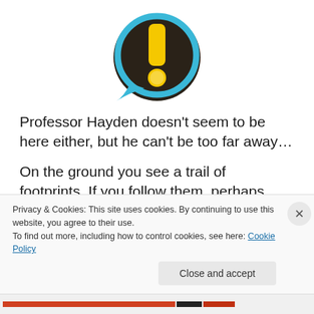[Figure (logo): Circular icon with dark background and bright blue speech bubble outline, containing a large yellow exclamation mark with a yellow dot below it.]
Professor Hayden doesn't seem to be here either, but he can't be too far away…
On the ground you see a trail of footprints. If you follow them, perhaps they'll lead you to Professor Hayden.
Skip ti...
Privacy & Cookies: This site uses cookies. By continuing to use this website, you agree to their use.
To find out more, including how to control cookies, see here: Cookie Policy
Close and accept